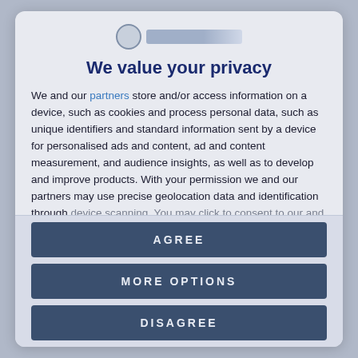[Figure (logo): Organization logo with circular emblem and text bar]
We value your privacy
We and our partners store and/or access information on a device, such as cookies and process personal data, such as unique identifiers and standard information sent by a device for personalised ads and content, ad and content measurement, and audience insights, as well as to develop and improve products. With your permission we and our partners may use precise geolocation data and identification through device scanning. You may click to consent to our and our partners'
AGREE
MORE OPTIONS
DISAGREE